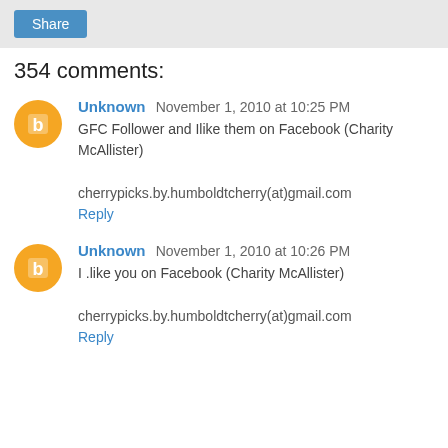[Figure (screenshot): Share button in a grey toolbar]
354 comments:
Unknown  November 1, 2010 at 10:25 PM
GFC Follower and Ilike them on Facebook (Charity McAllister)

cherrypicks.by.humboldtcherry(at)gmail.com
Reply
Unknown  November 1, 2010 at 10:26 PM
I .like you on Facebook (Charity McAllister)

cherrypicks.by.humboldtcherry(at)gmail.com
Reply